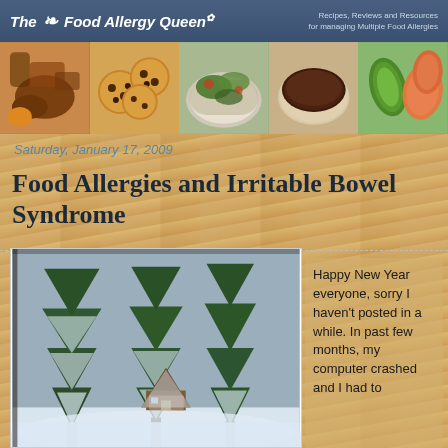The Food Allergy Queen — Recipes, Reviews and Resources for managing Multiple Food Allergies
[Figure (photo): Food photo strip with 5 food images: meat/mushrooms, chocolate chip cookies, green salad bowl, chocolate cake, cucumber/salmon slices]
Saturday, January 17, 2009
Food Allergies and Irritable Bowel Syndrome
[Figure (photo): Winter scene with snow-covered pine trees and an A-frame cabin]
Happy New Year everyone, sorry I haven't posted in a while. In past few months, my computer crashed and I had to